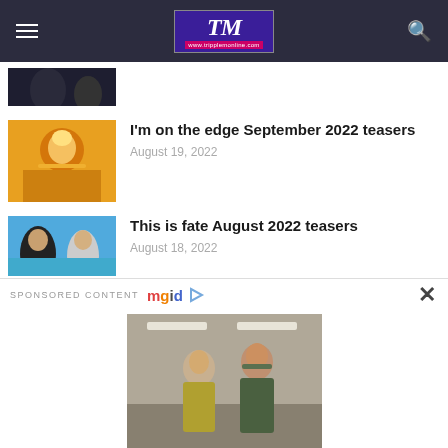TM - www.tripplemonline.com
[Figure (photo): Partial cropped article thumbnail showing person in black]
[Figure (photo): Woman in yellow Indian traditional dress with jewelry]
I'm on the edge September 2022 teasers
August 19, 2022
[Figure (photo): Man and woman on blue background]
This is fate August 2022 teasers
August 18, 2022
SPONSORED CONTENT mgid
[Figure (photo): Two women facing each other in a hallway]
These TV Characters Proved That Any 2 People Can Bury The Hatchet